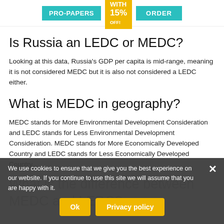[Figure (screenshot): Website banner with PRO-PAPERS logo, 15% discount badge, and ORDER button in teal/yellow colors]
Is Russia an LEDC or MEDC?
Looking at this data, Russia's GDP per capita is mid-range, meaning it is not considered MEDC but it is also not considered a LEDC either.
What is MEDC in geography?
MEDC stands for More Environmental Development Consideration and LEDC stands for Less Environmental Development Consideration. MEDC stands for More Economically Developed Country and LEDC stands for Less Economically Developed Country...
What is the difference between MEDC and LEDC?
We use cookies to ensure that we give you the best experience on our website. If you continue to use this site we will assume that you are happy with it.